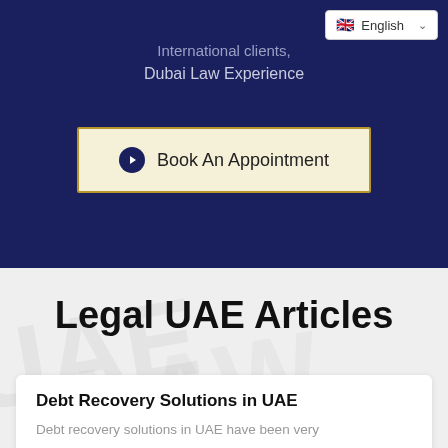International clients,
Dubai Law Experience
Book An Appointment
Legal UAE Articles
Debt Recovery Solutions in UAE
Debt recovery solutions in UAE have been very